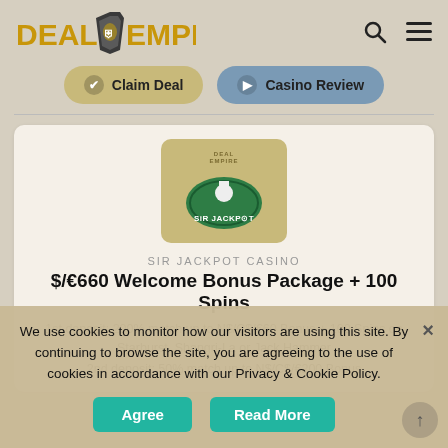[Figure (logo): Deal Empire logo with golden helmet shield and golden text]
Claim Deal
Casino Review
[Figure (logo): Sir Jackpot casino logo - man in top hat on green oval badge]
SIR JACKPOT CASINO
$/€660 Welcome Bonus Package + 100 Spins
1st deposit: 200% match up to N$/C$/€60 Bonus + 100 Spins on Starburst, Shangri-La or Jack Hammer
2nd deposit: 50% match up to N$/C$/€200 Bonus
We use cookies to monitor how our visitors are using this site. By continuing to browse the site, you are agreeing to the use of cookies in accordance with our Privacy & Cookie Policy.
Agree
Read More